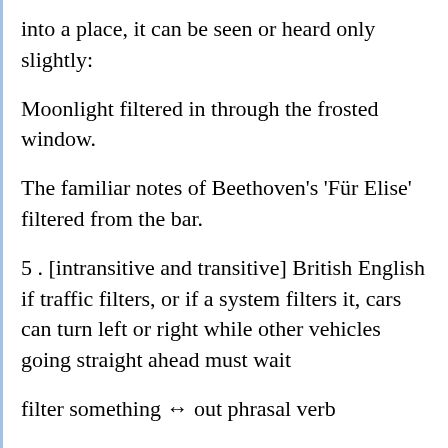into a place, it can be seen or heard only slightly:
Moonlight filtered in through the frosted window.
The familiar notes of Beethoven’s ‘Für Elise’ filtered from the bar.
5 . [intransitive and transitive] British English if traffic filters, or if a system filters it, cars can turn left or right while other vehicles going straight ahead must wait
filter something ↔ out phrasal verb
1 . to remove something, using a filter: